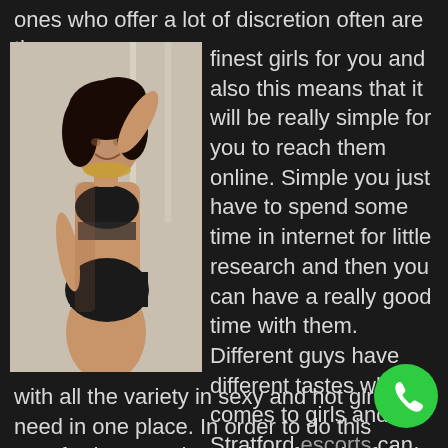ones who offer a lot of discretion often are the finest girls for you and also this means that it will be really simple for you to reach them online. Simple you just have to spend some time in internet for little research and then you can have a really good time with them. Different guys have different tastes when it comes to girls and the Stratford escorts can provide you with all the variety in sexy and hot girls you need in one place. In order to do this Stratford escorts have pics of each of their sexy ladies. Each pic gives you so much details as possible so you can...
[Figure (photo): Woman posing in black bikini/underwear, dark hair, smiling, standing near a window]